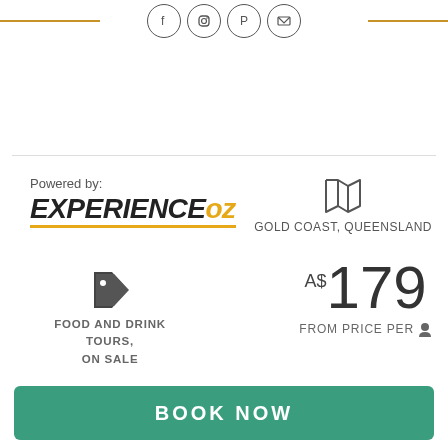Social icons: Facebook, Instagram, Pinterest, Email
[Figure (logo): ExperienceOz logo with 'EXPERIENCE' in black bold italic and 'oz' in gold italic, with 'Powered by:' label above]
GOLD COAST, QUEENSLAND
FOOD AND DRINK TOURS, ON SALE
A$179
FROM PRICE PER
BOOK NOW